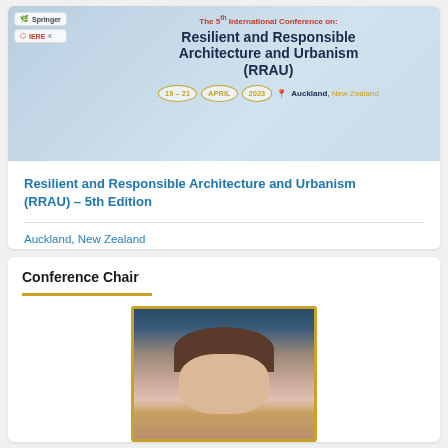[Figure (photo): Conference banner for the 5th International Conference on Resilient and Responsible Architecture and Urbanism (RRAU), 19-21 April 2023, Auckland, New Zealand, with logos of Springer and IERE]
Resilient and Responsible Architecture and Urbanism (RRAU) – 5th Edition
Auckland, New Zealand
19 Apr / 21 Apr 2023
Conference Chair
[Figure (photo): Portrait photo of the Conference Chair, a woman with dark hair, in a conference room setting, framed with a golden border]